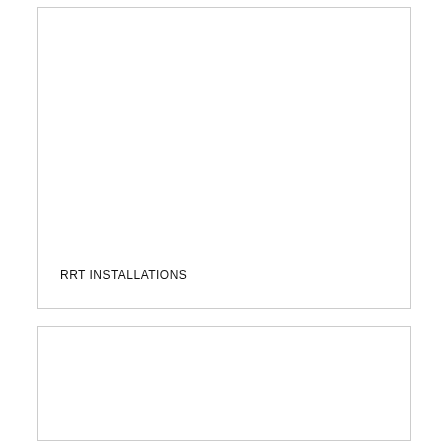[Figure (other): Large white box with border, mostly empty, containing label 'RRT INSTALLATIONS' at bottom left]
RRT INSTALLATIONS
[Figure (other): Smaller white box with border, empty]